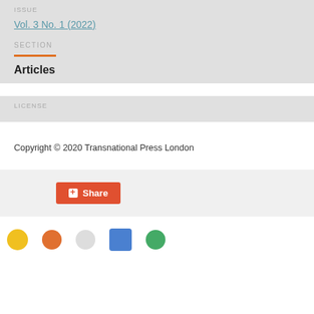ISSUE
Vol. 3 No. 1 (2022)
SECTION
Articles
LICENSE
Copyright © 2020 Transnational Press London
[Figure (other): Share button with red/orange background and plus icon]
[Figure (other): Row of social/platform icons at bottom]